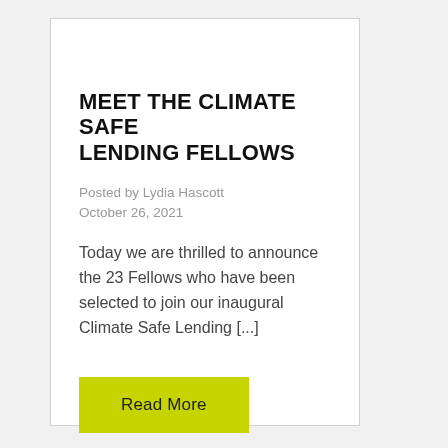MEET THE CLIMATE SAFE LENDING FELLOWS
Posted by Lydia Hascott
October 26, 2021
Today we are thrilled to announce the 23 Fellows who have been selected to join our inaugural Climate Safe Lending [...]
Read More